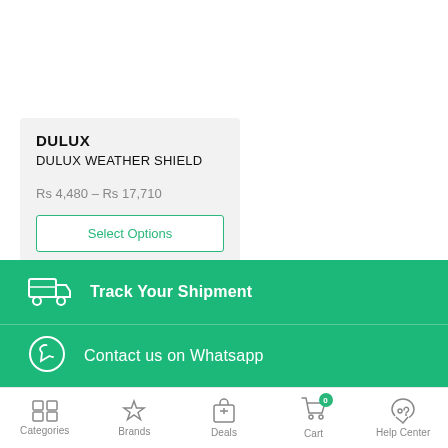DULUX
DULUX WEATHER SHIELD
Rs 4,480 – Rs 17,710
Select Options
Track Your Shipment
Contact us on Whatsapp
Categories  Brands  Deals  Cart  Help Center